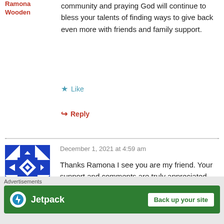Ramona Wooden
community and praying God will continue to bless your talents of finding ways to give back even more with friends and family support.
★ Like
↳ Reply
December 1, 2021 at 4:59 am
Thanks Ramona I see you are my friend. Your support and comments are truly appreciated. Blessings & happy holidays for you and yours
thedaughterline
Advertisements
[Figure (logo): Jetpack advertisement banner with logo and 'Back up your site' button on green background]